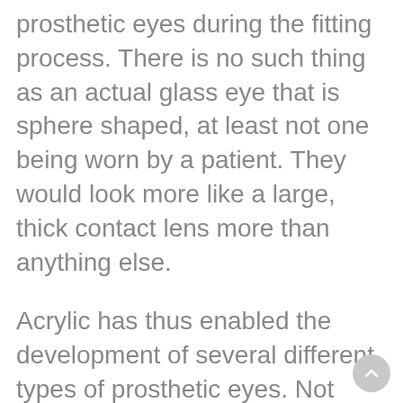prosthetic eyes during the fitting process. There is no such thing as an actual glass eye that is sphere shaped, at least not one being worn by a patient. They would look more like a large, thick contact lens more than anything else.
Acrylic has thus enabled the development of several different types of prosthetic eyes. Not everyone who needs an artificial eye has an empty eye socket.